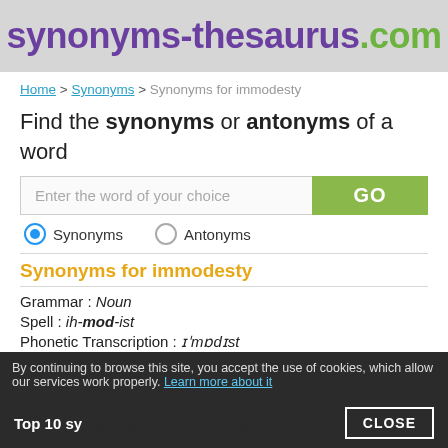synonyms-thesaurus.com
Home > Synonyms > Synonyms for immodesty
Find the synonyms or antonyms of a word
Enter the word of your choice
Synonyms  Antonyms
Synonyms for immodesty
Grammar : Noun
Spell : ih-mod-ist
Phonetic Transcription : ɪˈmɒdɪst
By continuing to browse this site, you accept the use of cookies, which allow our services work properly. Learn more about it
Top 10 synonyms for immodesty
CLOSE